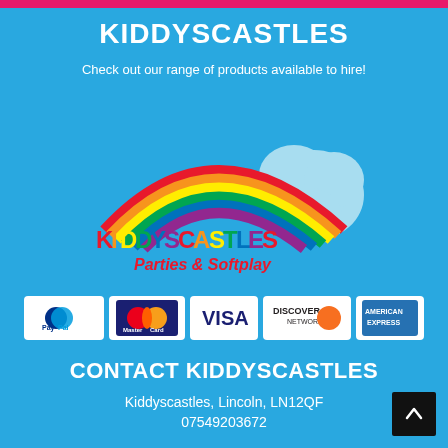KIDDYSCASTLES
Check out our range of products available to hire!
[Figure (logo): Kiddyscastles Parties & Softplay logo with rainbow arc and colorful text on light blue star/cloud shape background]
[Figure (infographic): Payment method icons: PayPal, MasterCard, VISA, Discover Network, American Express]
CONTACT KIDDYSCASTLES
Kiddyscastles, Lincoln, LN12QF
07549203672